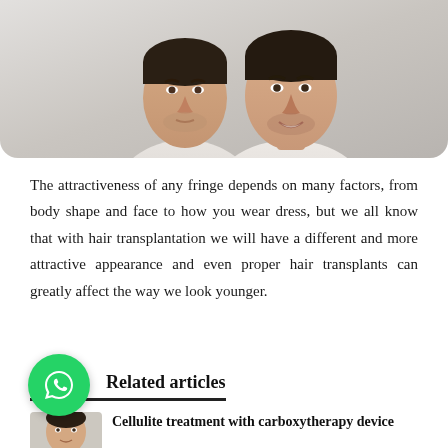[Figure (photo): Two young men side by side against a light gray background, shown from shoulders up, both with dark hair and light shirts, one slightly behind the other]
The attractiveness of any fringe depends on many factors, from body shape and face to how you wear dress, but we all know that with hair transplantation we will have a different and more attractive appearance and even proper hair transplants can greatly affect the way we look younger.
Related articles
[Figure (photo): Small thumbnail photo of a face, partial view]
Cellulite treatment with carboxytherapy device